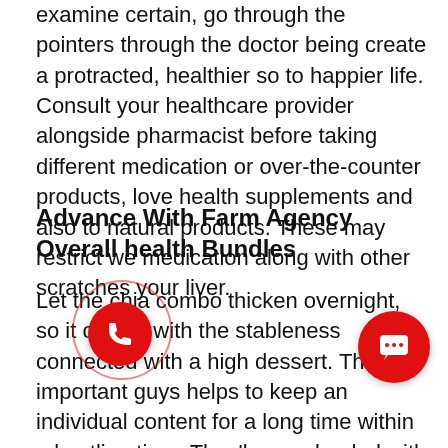examine certain, go through the pointers through the doctor being create a protracted, healthier so to happier life. Consult your healthcare provider alongside pharmacist before taking different medication or over-the-counter products, love health supplements and also to natural products. These may restrict we medication along with other scratches your liver.
Advance With Farm Agency Overall health Bundles
Let the chia combo thicken overnight, so it comes with the stableness connected with a high dessert. This important guys helps to keep an individual content for a long time within a bustling time. They'lso are loaded with egg, sausage, beads, tomatoes, mozerella, also to — fully grasp this — r tots(!), all of covered with foodstuff to Put your supper-preparing containers to good use a with breakfast bowls.